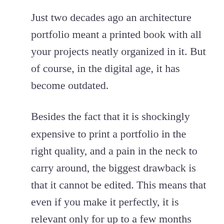Just two decades ago an architecture portfolio meant a printed book with all your projects neatly organized in it. But of course, in the digital age, it has become outdated.
Besides the fact that it is shockingly expensive to print a portfolio in the right quality, and a pain in the neck to carry around, the biggest drawback is that it cannot be edited. This means that even if you make it perfectly, it is relevant only for up to a few months and it cannot be tailored to the job at hand.
Nevertheless, it is always important to study the job description or requirements carefully, because if a